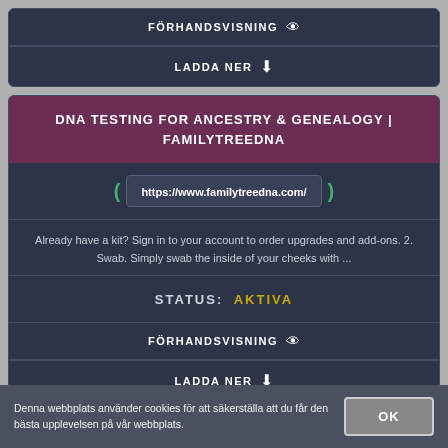FÖRHANDSVISNING
LADDA NER
DNA TESTING FOR ANCESTRY & GENEALOGY | FAMILYTREEDNA
https://www.familytreedna.com/
Already have a kit? Sign in to your account to order upgrades and add-ons. 2. Swab. Simply swab the inside of your cheeks with ...
STATUS: AKTIVA
FÖRHANDSVISNING
LADDA NER
Denna webbplats använder cookies för att säkerställa att du får den bästa upplevelsen på vår webbplats.